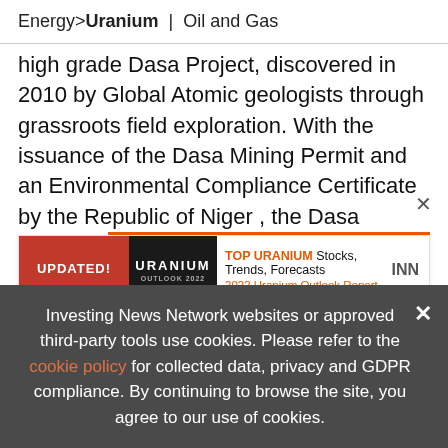Energy > Uranium | Oil and Gas
high grade Dasa Project, discovered in 2010 by Global Atomic geologists through grassroots field exploration. With the issuance of the Dasa Mining Permit and an Environmental Compliance Certificate by the Republic of Niger , the Dasa Project is fully permitted for commercial production.  The Phase 1 Feasibility Study for Dasa was filed in December 2021 and estimates
[Figure (screenshot): Popup advertisement for '2022 Uranium Outlook Report' with red 'UPDATED!' label on left, uranium book cover image, and INN branding. Orange bar at top, title 'TOP URANIUM Stocks, Trends, Forecasts' and subtitle '2022 Uranium Outlook Report'.]
Investing News Network websites or approved third-party tools use cookies. Please refer to the cookie policy for collected data, privacy and GDPR compliance. By continuing to browse the site, you agree to our use of cookies.